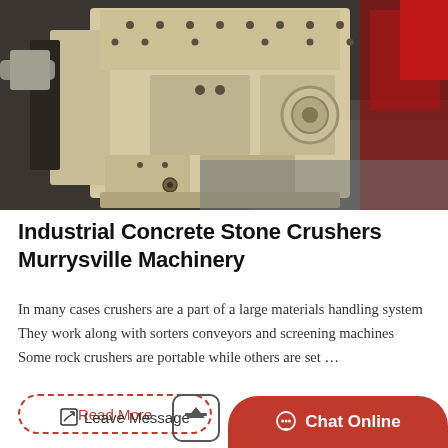[Figure (photo): Industrial stone crusher machine — large beige/cream colored heavy-duty impact crusher sitting on a factory floor, viewed from front-left angle showing bolted steel body panels and mechanical components]
Industrial Concrete Stone Crushers Murrysville Machinery
In many cases crushers are a part of a large materials handling system They work along with sorters conveyors and screening machines Some rock crushers are portable while others are set …
Read More
Leave Message
Chat Online